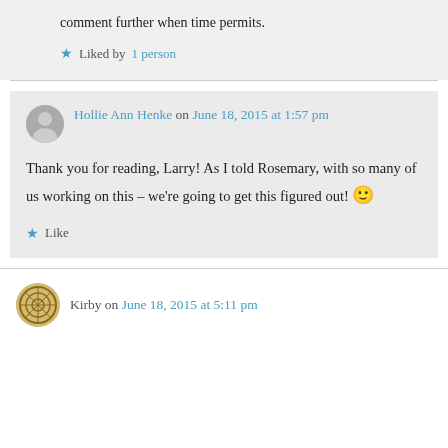comment further when time permits.
★ Liked by 1 person
Hollie Ann Henke on June 18, 2015 at 1:57 pm
Thank you for reading, Larry! As I told Rosemary, with so many of us working on this – we're going to get this figured out! 🙂
★ Like
Kirby on June 18, 2015 at 5:11 pm